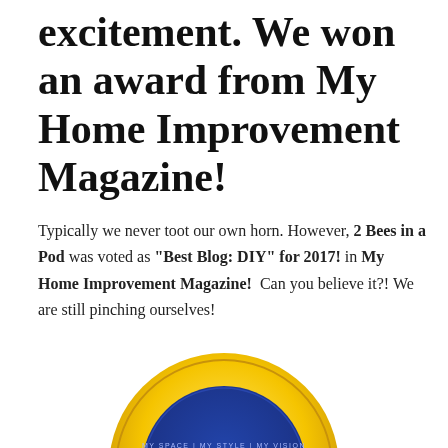excitement. We won an award from My Home Improvement Magazine!
Typically we never toot our own horn. However, 2 Bees in a Pod was voted as "Best Blog: DIY" for 2017! in My Home Improvement Magazine!  Can you believe it?! We are still pinching ourselves!
[Figure (illustration): Award badge/rosette with gold scalloped ribbon border and dark blue center circle. Text on badge reads: MY SPACE | MY STYLE | MY VISION and MyHOME at the bottom.]